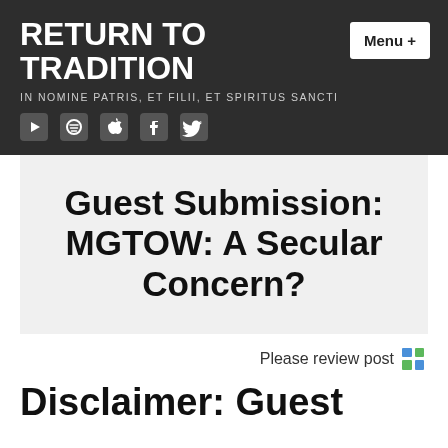RETURN TO TRADITION
IN NOMINE PATRIS, ET FILII, ET SPIRITUS SANCTI
Guest Submission: MGTOW: A Secular Concern?
Please review post
Disclaimer: Guest